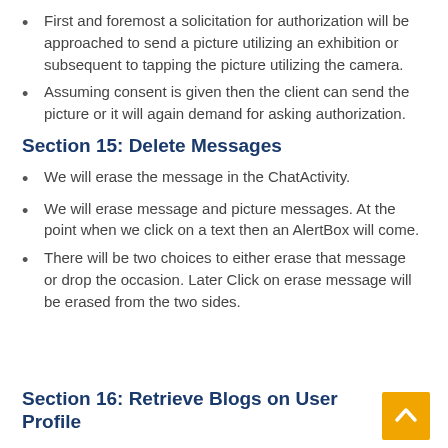First and foremost a solicitation for authorization will be approached to send a picture utilizing an exhibition or subsequent to tapping the picture utilizing the camera.
Assuming consent is given then the client can send the picture or it will again demand for asking authorization.
Section 15: Delete Messages
We will erase the message in the ChatActivity.
We will erase message and picture messages. At the point when we click on a text then an AlertBox will come.
There will be two choices to either erase that message or drop the occasion. Later Click on erase message will be erased from the two sides.
Section 16: Retrieve Blogs on User Profile